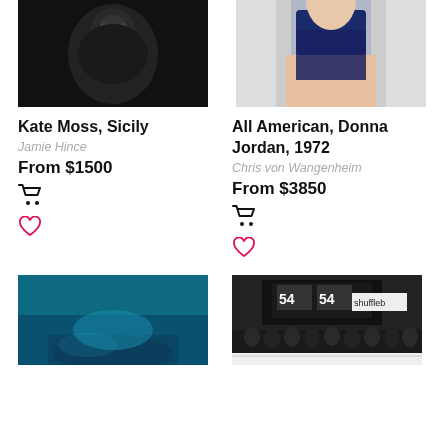[Figure (photo): Black and white photo of person, top cropped, dark moody image]
[Figure (photo): Color photo of woman in dark swimsuit, cropped]
Kate Moss, Sicily
Jamie Hince
From $1500
All American, Donna Jordan, 1972
Chris von Wangenheim
From $3850
[Figure (photo): Underwater photo with teal/blue tones, figure submerged]
[Figure (photo): Black and white photo of Studio 54 nightclub exterior with crowd]